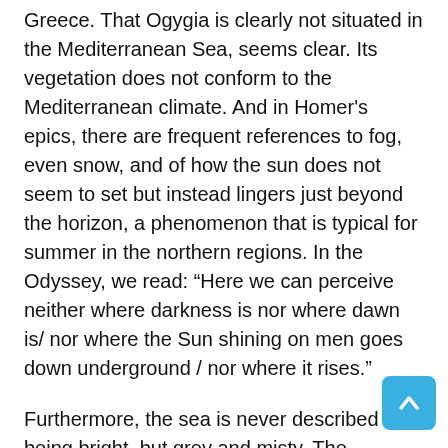Greece. That Ogygia is clearly not situated in the Mediterranean Sea, seems clear. Its vegetation does not conform to the Mediterranean climate. And in Homer's epics, there are frequent references to fog, even snow, and of how the sun does not seem to set but instead lingers just beyond the horizon, a phenomenon that is typical for summer in the northern regions. In the Odyssey, we read: “Here we can perceive neither where darkness is nor where dawn is/ nor where the Sun shining on men goes down underground / nor where it rises.”
Furthermore, the sea is never described as being bright, but grey and misty. The characters wear tunics and “thick, heavy cloaks” which they never remove, not even during banquets. The sun or its warmth are seldom mentioned in the book, yet are